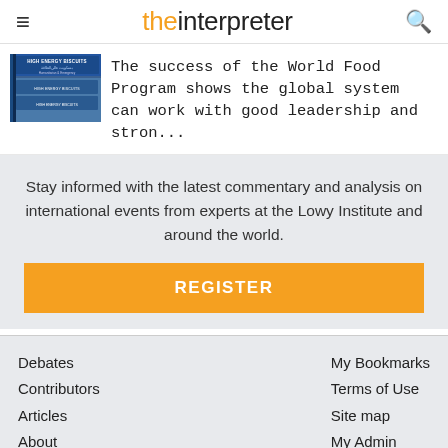the interpreter
[Figure (photo): Photo of high energy biscuit boxes stacked, blue packaging with Arabic and English text]
The success of the World Food Program shows the global system can work with good leadership and stron...
Stay informed with the latest commentary and analysis on international events from experts at the Lowy Institute and around the world.
REGISTER
Debates
Contributors
Articles
About
Comments Policy
My Bookmarks
Terms of Use
Site map
My Admin
Log In